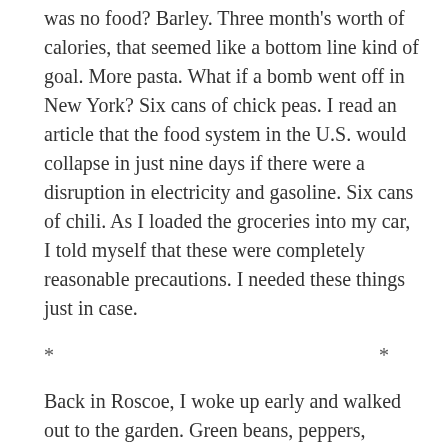was no food? Barley. Three month's worth of calories, that seemed like a bottom line kind of goal. More pasta. What if a bomb went off in New York? Six cans of chick peas. I read an article that the food system in the U.S. would collapse in just nine days if there were a disruption in electricity and gasoline. Six cans of chili. As I loaded the groceries into my car, I told myself that these were completely reasonable precautions. I needed these things just in case.
* * *
Back in Roscoe, I woke up early and walked out to the garden. Green beans, peppers, cucumbers, yellow squash, blackberries, and zucchini all needed to be harvested before they grew too large and unmanageable or died on the vine. The tops of my